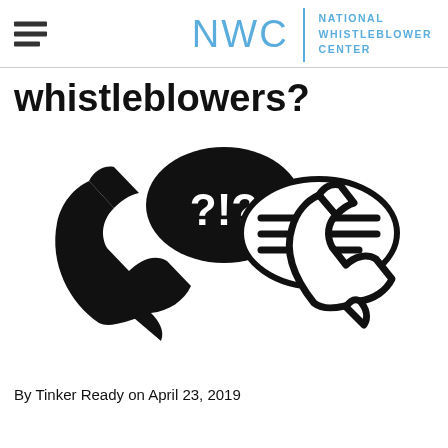NWC | NATIONAL WHISTLEBLOWER CENTER
whistleblowers?
[Figure (illustration): Icon of two telephone handsets with speech bubbles — one dark bubble containing '?!?' and one lighter outlined bubble containing horizontal lines, representing conversation or reporting.]
By Tinker Ready on April 23, 2019